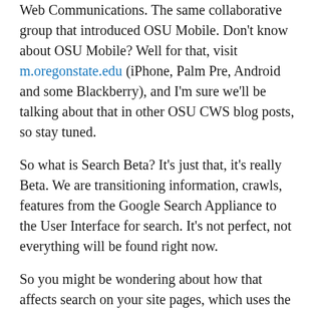Web Communications.  The same collaborative group that introduced OSU Mobile.  Don't know about OSU Mobile?  Well for that, visit m.oregonstate.edu (iPhone, Palm Pre, Android and some Blackberry), and I'm sure we'll be talking about that in other OSU CWS blog posts, so stay tuned.
So what is Search Beta?  It's just that, it's really Beta.  We are transitioning information, crawls, features from the Google Search Appliance to the User Interface for search.  It's not perfect, not everything will be found right now.
So you might be wondering about how that affects search on your site pages, which uses the central code provided by CWS.  Because we have a front end to search, we are able to make it as transparent as possible to site owners.  The goal is sites shouldn't need to be modified, if they use the search module integration CWS has provided and made available previously.  Integration with Drupal sites will be upcoming, so if your site is not showing results because it has not been indexed, do not